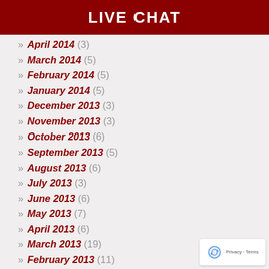LIVE CHAT
» April 2014 (3)
» March 2014 (5)
» February 2014 (5)
» January 2014 (5)
» December 2013 (3)
» November 2013 (3)
» October 2013 (6)
» September 2013 (5)
» August 2013 (6)
» July 2013 (3)
» June 2013 (6)
» May 2013 (7)
» April 2013 (6)
» March 2013 (19)
» February 2013 (11)
» January 2013 (22)
» December 2012 (9)
» November 2012 (12)